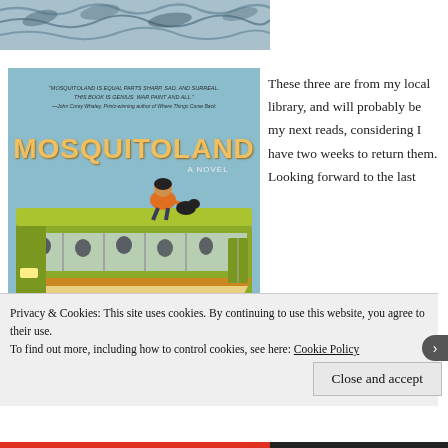[Figure (photo): Partial top of a book cover or decorative image showing blue/grey illustrated waves or feathers pattern]
[Figure (illustration): Book cover of 'Mosquitoland: A Novel' showing a green bus with a person sitting on top, illustrated in a retro style on a teal/blue background. Blurb text at top reads: 'MOSQUITOLAND IS EQUAL PARTS SHARP, SAD, AND SURREAL. THIS BOOK IS GENIUS. WAR PAINT AND ALL. —John Corey Whaley, Printz-winning author of Where Things Come Back']
These three are from my local library, and will probably be my next reads, considering I have two weeks to return them. Looking forward to the last...
Privacy & Cookies: This site uses cookies. By continuing to use this website, you agree to their use.
To find out more, including how to control cookies, see here: Cookie Policy
Close and accept